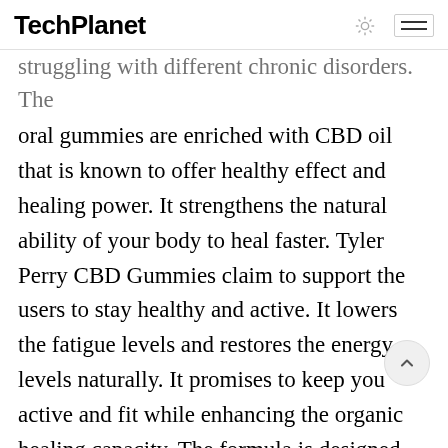TechPlanet
struggling with different chronic disorders. The oral gummies are enriched with CBD oil that is known to offer healthy effect and healing power. It strengthens the natural ability of your body to heal faster. Tyler Perry CBD Gummies claim to support the users to stay healthy and active. It lowers the fatigue levels and restores the energy levels naturally. It promises to keep you active and fit while enhancing the organic healing capacity. The formula is designed using clinically approved substances and herbs that are blended in appropriate proportion. It never put your health at risk of side effects as it is safe and 100% natural.